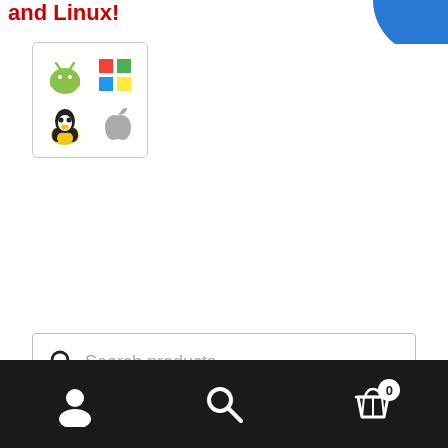and Linux!
[Figure (illustration): Four OS logos: Android (green robot), Windows (colored flag), Linux (Tux penguin), Apple (grey apple) arranged in a 2x2 grid inside a rounded rectangle]
[Figure (illustration): Blue circle partially visible in top-right corner]
Search products...
Comic Titles
Navigation bar with user, search, and cart (0) icons